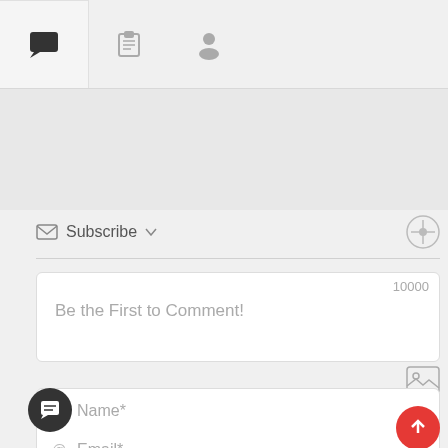[Figure (screenshot): UI screenshot showing a comment/tab interface with tab bar containing chat, list, and user icons; a Subscribe dropdown; a comment text area with placeholder 'Be the First to Comment!' and character count 10000; name and email input fields; a dark circular chat FAB button; and a red circular upload FAB button.]